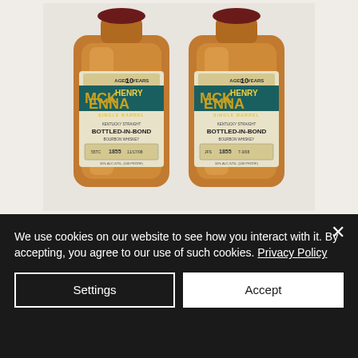[Figure (photo): Two bottles of Henry McKenna Single Barrel Bottled-in-Bond Kentucky Straight Bourbon Whiskey, Aged 10 Years, 50% ALC/VOL (100 Proof), with the 1855 barrel number visible on labels, placed side by side on a light surface.]
We use cookies on our website to see how you interact with it. By accepting, you agree to our use of such cookies. Privacy Policy
Settings
Accept